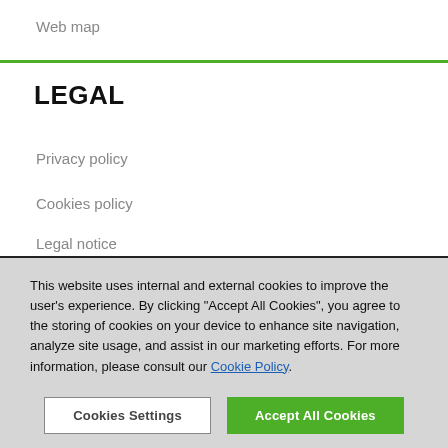Web map
LEGAL
Privacy policy
Cookies policy
Legal notice
This website uses internal and external cookies to improve the user's experience. By clicking “Accept All Cookies”, you agree to the storing of cookies on your device to enhance site navigation, analyze site usage, and assist in our marketing efforts. For more information, please consult our Cookie Policy.